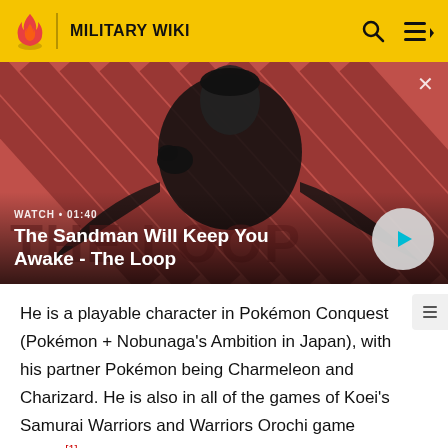MILITARY WIKI
[Figure (screenshot): Video banner showing a dark-cloaked figure with a raven on their shoulder against a red diagonal striped background. Text overlay reads WATCH • 01:40 and The Sandman Will Keep You Awake - The Loop, with a circular play button.]
The Sandman Will Keep You Awake - The Loop
He is a playable character in Pokémon Conquest (Pokémon + Nobunaga's Ambition in Japan), with his partner Pokémon being Charmeleon and Charizard. He is also in all of the games of Koei's Samurai Warriors and Warriors Orochi game series[1]